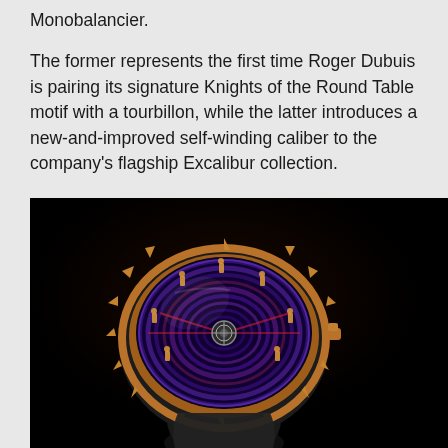Monobalancier.
The former represents the first time Roger Dubuis is pairing its signature Knights of the Round Table motif with a tourbillon, while the latter introduces a new-and-improved self-winding caliber to the company's flagship Excalibur collection.
[Figure (photo): Close-up product photo of a Roger Dubuis Excalibur watch on a black background. The watch features a rose gold case with a distinctive toothed bezel, a purple and blue swirling dial with knight figurines arranged around a central tourbillon, and a black rubber strap.]